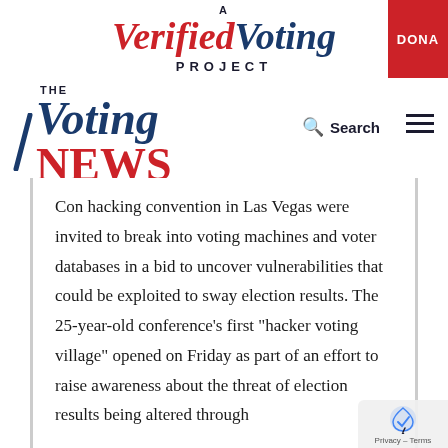[Figure (logo): A Verified Voting Project logo with red and blue italic text, and a red DONATE button on the right]
[Figure (logo): The Voting News logo with blue italic Voting and red NEWS text, alongside Search and hamburger menu icons]
Con hacking convention in Las Vegas were invited to break into voting machines and voter databases in a bid to uncover vulnerabilities that could be exploited to sway election results. The 25-year-old conference's first “hacker voting village” opened on Friday as part of an effort to raise awareness about the threat of election results being altered through